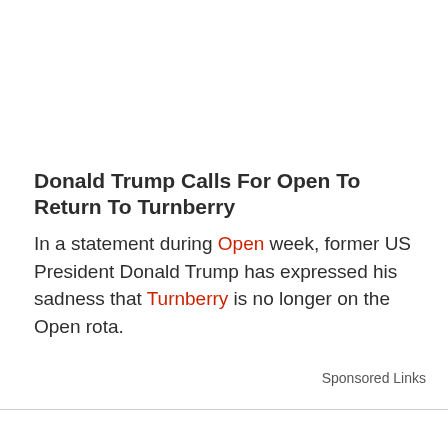Donald Trump Calls For Open To Return To Turnberry
In a statement during Open week, former US President Donald Trump has expressed his sadness that Turnberry is no longer on the Open rota.
Sponsored Links